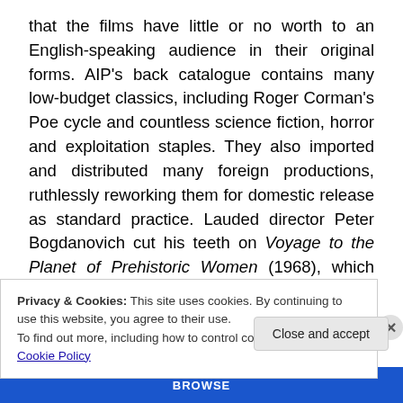that the films have little or no worth to an English-speaking audience in their original forms. AIP's back catalogue contains many low-budget classics, including Roger Corman's Poe cycle and countless science fiction, horror and exploitation staples. They also imported and distributed many foreign productions, ruthlessly reworking them for domestic release as standard practice. Lauded director Peter Bogdanovich cut his teeth on Voyage to the Planet of Prehistoric Women (1968), which amazingly is a recut of a recut. Bogdanovich's film, produced by Roger Corman for AIP, consists of footage from Voyage to the
Privacy & Cookies: This site uses cookies. By continuing to use this website, you agree to their use.
To find out more, including how to control cookies, see here: Cookie Policy
Close and accept